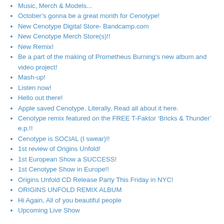Music, Merch & Models...
October's gonna be a great month for Cenotype!
New Cenotype Digital Store- Bandcamp.com
New Cenotype Merch Store(s)!!
New Remix!
Be a part of the making of Prometheus Burning's new album and video project!
Mash-up!
Listen now!
Hello out there!
Apple saved Cenotype. Literally. Read all about it here.
Cenotype remix featured on the FREE T-Faktor ‘Bricks & Thunder’ e.p.!!
Cenotype is SOCIAL (I swear)!!
1st review of Origins Unfold!
1st European Show a SUCCESS!
1st Cenotype Show in Europe!!
Origins Unfold CD Release Party This Friday in NYC!
ORIGINS UNFOLD REMIX ALBUM
Hi Again, All of you beautiful people
Upcoming Live Show